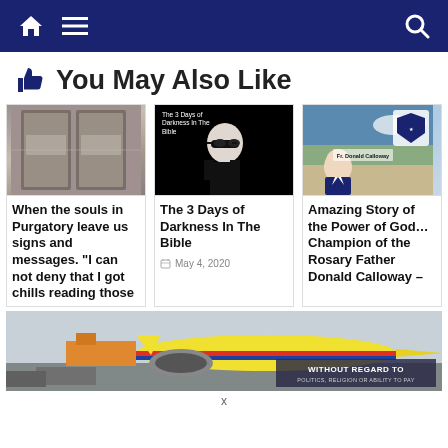Navigation bar with home, menu, and search icons
👍 You May Also Like
[Figure (screenshot): Thumbnail image of a window/door with metal frame]
When the souls in Purgatory leave us signs and messages. "I can not deny that I got chills reading those
[Figure (screenshot): Black and white image of a man in sunglasses with text 'The 3 Days of Darkness In The Bible']
The 3 Days of Darkness In The Bible
May 4, 2020
[Figure (screenshot): Image of Father Donald Calloway with desert background and shield logo]
Amazing Story of the Power of God… Champion of the Rosary Father Donald Calloway –
[Figure (screenshot): Advertisement banner showing airplane cargo loading with text WITHOUT REGARD TO POLITICS, RELIGION OR ABILITY TO PAY]
x